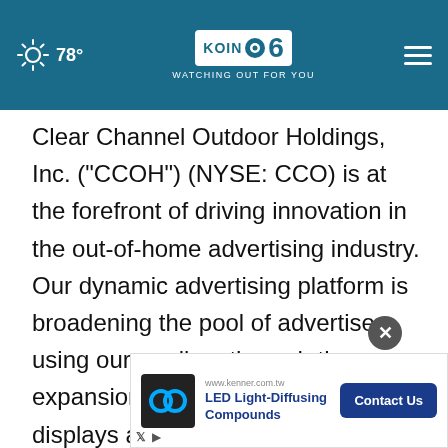78° KOIN 6 CBS WATCHING OUT FOR YOU
Clear Channel Outdoor Holdings, Inc. ("CCOH") (NYSE: CCO) is at the forefront of driving innovation in the out-of-home advertising industry. Our dynamic advertising platform is broadening the pool of advertisers using our medium through the expansion of digital billboards and displays and the integration of data analytics and programmatic capabilities that deliver measurable campaigns that are simply...ch